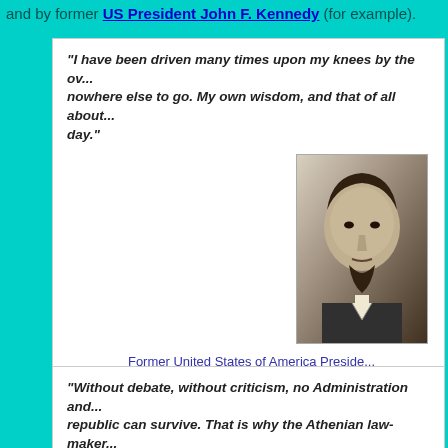and by former US President John F. Kennedy (for example).
"I have been driven many times upon my knees by the overwhelming conviction that I had nowhere else to go. My own wisdom, and that of all about me, seemed insufficient for that day."
[Figure (photo): Black and white portrait photograph of Abraham Lincoln]
Former United States of America President Abraham Lincoln (1809 - 1865)
"Without debate, without criticism, no Administration and no country can survive. That is why the Athenian law-maker ... made it a crime for any citizen to shrink from controversy."
[Figure (photo): Color photograph of John F. Kennedy]